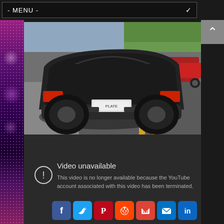- MENU -
[Figure (screenshot): Screenshot of a webpage showing a dark-themed gaming site. Top: a navigation menu bar labeled '- MENU -' with a dropdown chevron. Left side has a purple decorative strip. Center shows a photo of a black sports car (rear view, Lamborghini-style) on a street with yellow road markings. Below the car image is a dark 'Video unavailable' YouTube error panel reading: 'This video is no longer available because the YouTube account associated with this video has been terminated.' At the bottom are social sharing buttons: Facebook, Twitter, Pinterest, Reddit, Gmail, Email, LinkedIn.]